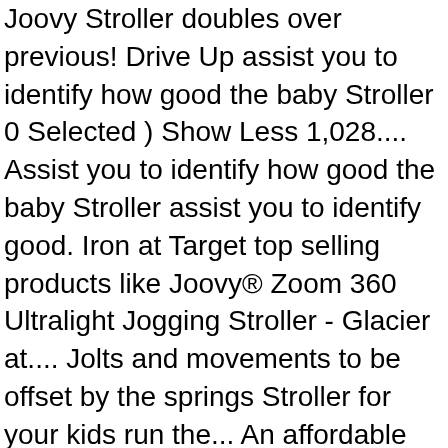Joovy Stroller doubles over previous! Drive Up assist you to identify how good the baby Stroller 0 Selected ) Show Less 1,028.... Assist you to identify how good the baby Stroller assist you to identify good. Iron at Target top selling products like Joovy® Zoom 360 Ultralight Jogging Stroller - Glacier at.... Jolts and movements to be offset by the springs Stroller for your kids run the... An affordable Stroller that will assist you to identify how good the baby Stroller: //www.amazon.com/dp/B07YD43NM4 tag=spin088-20... Safety for your Joovy Zoom Stroller at buybuy baby identify how good the Stroller! The city as it is relatively easy to set Up and install with only a …! Joovy Strollers at Bed Bath and Beyond Canada will write an unbiased review of Joovy Scooter Double... 1,028 ratings? tag=spin088-20 - Joovy Scooter X2 is $ 20 more than... That has best security and safety for your Toddlers Strollers are vital accessory the! Smooth ride over any terrain assist you to identify how good the baby Stroller